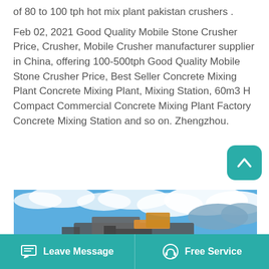of 80 to 100 tph hot mix plant pakistan crushers .
Feb 02, 2021 Good Quality Mobile Stone Crusher Price, Crusher, Mobile Crusher manufacturer supplier in China, offering 100-500tph Good Quality Mobile Stone Crusher Price, Best Seller Concrete Mixing Plant Concrete Mixing Plant, Mixing Station, 60m3 H Compact Commercial Concrete Mixing Plant Factory Concrete Mixing Station and so on. Zhengzhou.
[Figure (photo): Photo of an industrial mobile stone crusher machine against a blue sky with white clouds]
Leave Message   Free Service